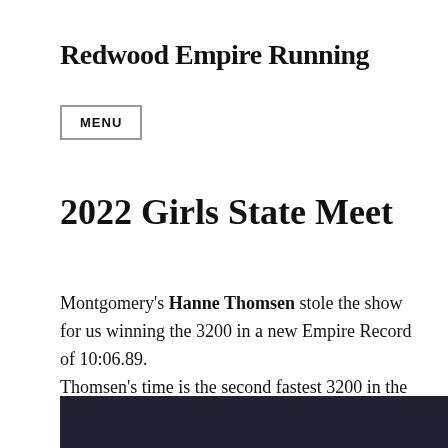Redwood Empire Running
MENU
2022 Girls State Meet
Montgomery's Hanne Thomsen stole the show for us winning the 3200 in a new Empire Record of 10:06.89.
Thomsen's time is the second fastest 3200 in the nation by a freshman.
[Figure (photo): Dark photo strip at the bottom of the page, partially visible]